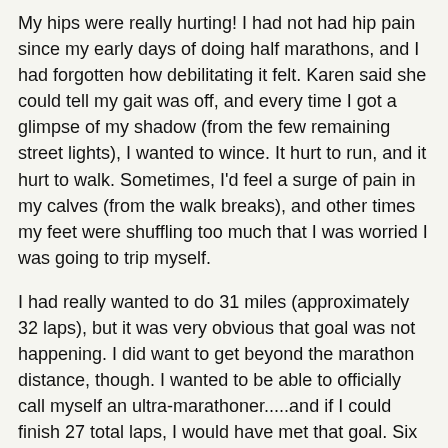My hips were really hurting! I had not had hip pain since my early days of doing half marathons, and I had forgotten how debilitating it felt. Karen said she could tell my gait was off, and every time I got a glimpse of my shadow (from the few remaining street lights), I wanted to wince. It hurt to run, and it hurt to walk. Sometimes, I'd feel a surge of pain in my calves (from the walk breaks), and other times my feet were shuffling too much that I was worried I was going to trip myself.
I had really wanted to do 31 miles (approximately 32 laps), but it was very obvious that goal was not happening. I did want to get beyond the marathon distance, though. I wanted to be able to officially call myself an ultra-marathoner.....and if I could finish 27 total laps, I would have met that goal. Six more laps, in a little more than an hour. Let's do this!
At this point, I knew I could speed walk almost as fast as I could run. If I ran as much as possible, then did a few speed-walk intervals, I would probably be alright. Michelle and Karen weren't very far ahead of me, if I kept them in my sight and was able to catch up with them intermittently, I'd be